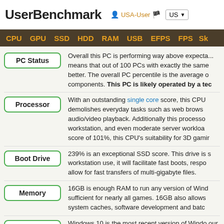UserBenchmark | USA-User | US
CPU GPU SSD HDD RAM USB EFPS FPS Sk
PC Status: Overall this PC is performing way above expectations. This means that out of 100 PCs with exactly the same components, 100 perform better. The overall PC percentile is the average of all the individual components. This PC is likely operated by a tech enthusiast.
Processor: With an outstanding single core score, this CPU demolishes everyday tasks such as web browsing and audio/video playback. Additionally this processor excels at workstation, and even moderate server workloads. With a score of 101%, this CPU's suitability for 3D gaming...
Boot Drive: 239% is an exceptional SSD score. This drive is suited for workstation use, it will facilitate fast boots, responsive... allow for fast transfers of multi-gigabyte files.
Memory: 16GB is enough RAM to run any version of Windows, sufficient for nearly all games. 16GB also allows... system caches, software development and batch...
OS Version: Windows 10 is the most recent version of Windows in our opinion.